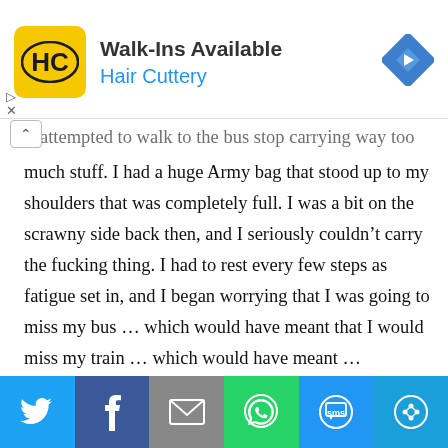[Figure (other): Hair Cuttery advertisement banner with yellow HC logo, text 'Walk-Ins Available' and 'Hair Cuttery', and a blue navigation diamond icon on the right]
much stuff. I had a huge Army bag that stood up to my shoulders that was completely full. I was a bit on the scrawny side back then, and I seriously couldn't carry the fucking thing. I had to rest every few steps as fatigue set in, and I began worrying that I was going to miss my bus … which would have meant that I would miss my train … which would have meant …
It was my first problem of international travel. And, as
[Figure (other): Social share bar with Twitter, Facebook, Email, WhatsApp, SMS, and other sharing icons]